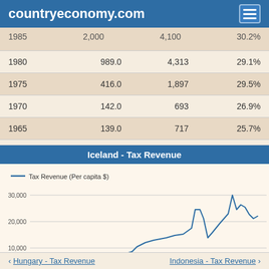countryeconomy.com
| Year | Tax Revenue | Per capita $ | % GDP |
| --- | --- | --- | --- |
| 1985 | 2,000 | 4,100 | 30.2% |
| 1980 | 989.0 | 4,313 | 29.1% |
| 1975 | 416.0 | 1,897 | 29.5% |
| 1970 | 142.0 | 693 | 26.9% |
| 1965 | 139.0 | 717 | 25.7% |
[Figure (line-chart): Iceland - Tax Revenue]
‹ Hungary - Tax Revenue   Indonesia - Tax Revenue ›